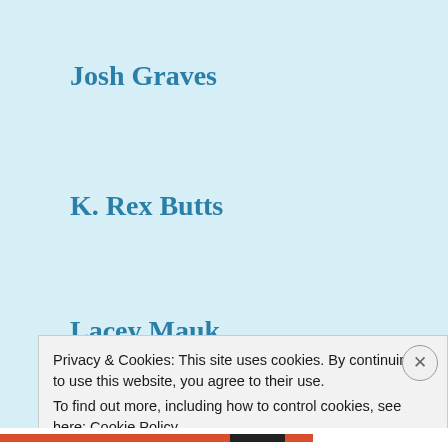Josh Graves
K. Rex Butts
Lacey Mauk
Larry James
Matt Dabbs
Mike Cope (partial)
Privacy & Cookies: This site uses cookies. By continuing to use this website, you agree to their use.
To find out more, including how to control cookies, see here: Cookie Policy
Close and accept